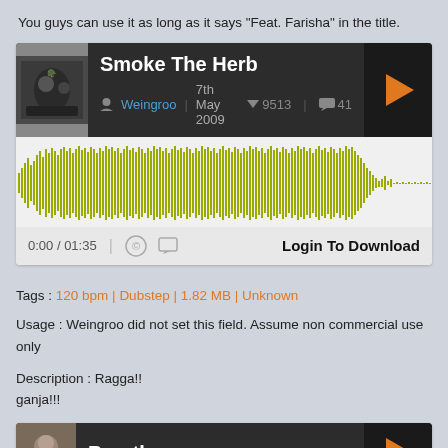You guys can use it as long as it says "Feat. Farisha" in the title.
[Figure (screenshot): Music player widget for 'Smoke The Herb' by Weingroo, uploaded 7th May 2009, with waveform visualization, download count 9513, comment count 41, duration 0:00/01:35, Login To Download button.]
Tags : 120 bpm | Dubstep | 1.82 MB | Unknown
Usage : Weingroo did not set this field. Assume non commercial use only
Description : Ragga!!
ganja!!!
[Figure (screenshot): Music player widget for 'Breathe' (partial view at bottom of page)]